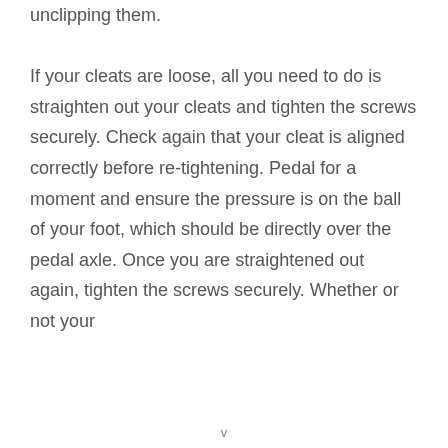unclipping them.

If your cleats are loose, all you need to do is straighten out your cleats and tighten the screws securely. Check again that your cleat is aligned correctly before re-tightening. Pedal for a moment and ensure the pressure is on the ball of your foot, which should be directly over the pedal axle. Once you are straightened out again, tighten the screws securely. Whether or not your
v